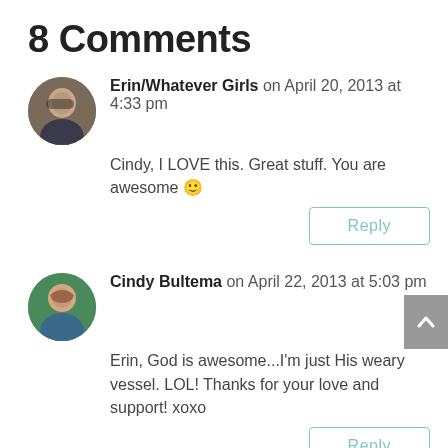8 Comments
Erin/Whatever Girls on April 20, 2013 at 4:33 pm
Cindy, I LOVE this. Great stuff. You are awesome 🙂
Reply
Cindy Bultema on April 22, 2013 at 5:03 pm
Erin, God is awesome...I'm just His weary vessel. LOL! Thanks for your love and support! xoxo
Reply
Christina Kotchum on April 21, 2013 at 2:52